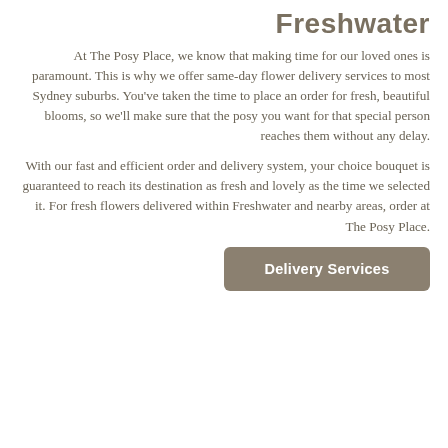Freshwater
At The Posy Place, we know that making time for our loved ones is paramount. This is why we offer same-day flower delivery services to most Sydney suburbs. You've taken the time to place an order for fresh, beautiful blooms, so we'll make sure that the posy you want for that special person reaches them without any delay.
With our fast and efficient order and delivery system, your choice bouquet is guaranteed to reach its destination as fresh and lovely as the time we selected it. For fresh flowers delivered within Freshwater and nearby areas, order at The Posy Place.
Delivery Services